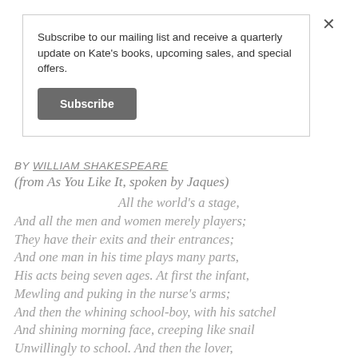Subscribe to our mailing list and receive a quarterly update on Kate's books, upcoming sales, and special offers.
Subscribe
BY WILLIAM SHAKESPEARE
(from As You Like It, spoken by Jaques)
All the world's a stage,
And all the men and women merely players;
They have their exits and their entrances;
And one man in his time plays many parts,
His acts being seven ages. At first the infant,
Mewling and puking in the nurse's arms;
And then the whining school-boy, with his satchel
And shining morning face, creeping like snail
Unwillingly to school. And then the lover,